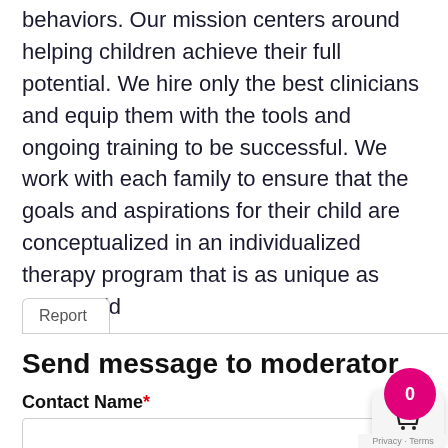behaviors. Our mission centers around helping children achieve their full potential. We hire only the best clinicians and equip them with the tools and ongoing training to be successful. We work with each family to ensure that the goals and aspirations for their child are conceptualized in an individualized therapy program that is as unique as each child
Report
Send message to moderator
Contact Name *